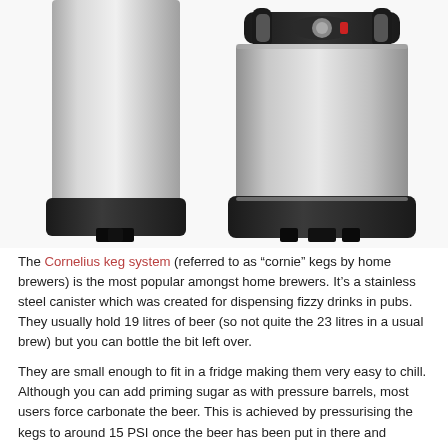[Figure (photo): Two stainless steel Cornelius kegs side by side. The left keg is taller and narrower, showing only the lower portion. The right keg is shorter and wider, with a black handle/lid on top. Both have black plastic bases with notches. The kegs have a brushed metallic silver finish.]
The Cornelius keg system (referred to as “cornie” kegs by home brewers) is the most popular amongst home brewers. It’s a stainless steel canister which was created for dispensing fizzy drinks in pubs. They usually hold 19 litres of beer (so not quite the 23 litres in a usual brew) but you can bottle the bit left over.
They are small enough to fit in a fridge making them very easy to chill. Although you can add priming sugar as with pressure barrels, most users force carbonate the beer. This is achieved by pressurising the kegs to around 15 PSI once the beer has been put in there and